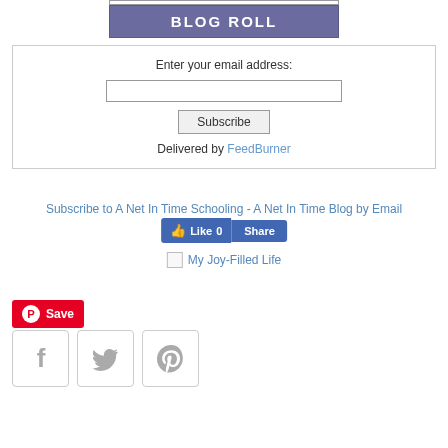BLOG ROLL
Enter your email address:
Subscribe
Delivered by FeedBurner
Subscribe to A Net In Time Schooling - A Net In Time Blog by Email
[Figure (other): Facebook Like and Share buttons showing Like 0 and Share]
My Joy-Filled Life
[Figure (other): Pinterest Save button (red)]
[Figure (other): Social share icons row: Facebook, Twitter, Pinterest]